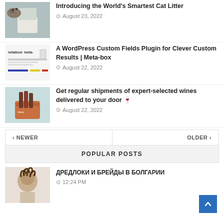[Figure (photo): Cat with litter bag product thumbnail]
Introducing the World's Smartest Cat Litter
August 23, 2022
[Figure (screenshot): Metabox WordPress plugin screenshot thumbnail]
A WordPress Custom Fields Plugin for Clever Custom Results | Meta-box
August 22, 2022
[Figure (photo): Wine box delivery product photo thumbnail]
Get regular shipments of expert-selected wines delivered to your door 🍷
August 22, 2022
< NEWER
OLDER >
POPULAR POSTS
[Figure (photo): Person with dreadlocks hairstyle thumbnail]
ДРЕДЛОКИ И БРЕЙДЫ В БОЛГАРИИ
12:24 PM